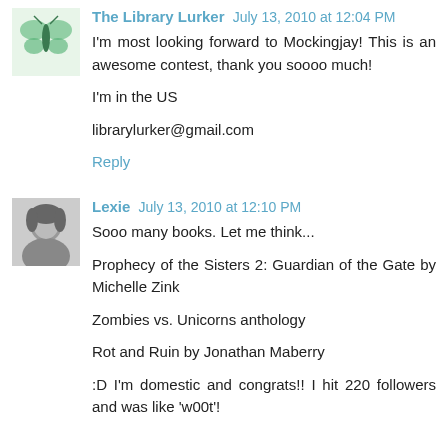The Library Lurker July 13, 2010 at 12:04 PM
I'm most looking forward to Mockingjay! This is an awesome contest, thank you soooo much!

I'm in the US

librarylurker@gmail.com
Reply
Lexie July 13, 2010 at 12:10 PM
Sooo many books. Let me think...

Prophecy of the Sisters 2: Guardian of the Gate by Michelle Zink

Zombies vs. Unicorns anthology

Rot and Ruin by Jonathan Maberry

:D I'm domestic and congrats!! I hit 220 followers and was like 'w00t'!